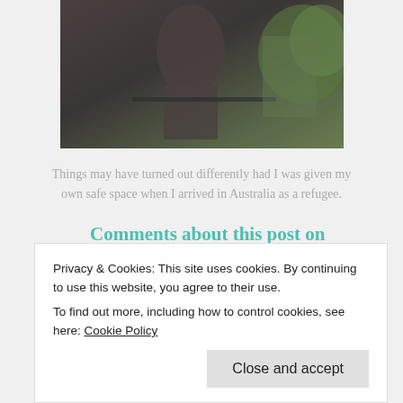[Figure (photo): A person standing near a railing with greenery in the background, viewed from behind/side in dark clothing.]
Things may have turned out differently had I was given my own safe space when I arrived in Australia as a refugee.
Comments about this post on ABC Open DRUM – Living alone.
April 1984, I arrived in Australia and stayed at
refugees and me – a Buddhist. But wait there's
Privacy & Cookies: This site uses cookies. By continuing to use this website, you agree to their use.
To find out more, including how to control cookies, see here: Cookie Policy
Close and accept